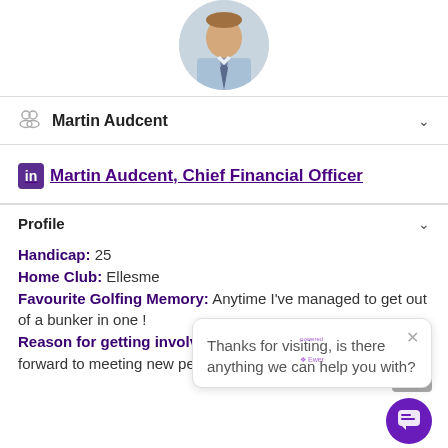[Figure (photo): Circular profile photo of Martin Audcent, a man in a blue shirt and tie]
Martin Audcent
Martin Audcent, Chief Financial Officer (LinkedIn link)
Profile
Handicap: 25
Home Club: Ellesme...
Favourite Golfing Memory: Anytime I've managed to get out of a bunker in one !
Reason for getting involved in Business Fours: Looking forward to meeting new people